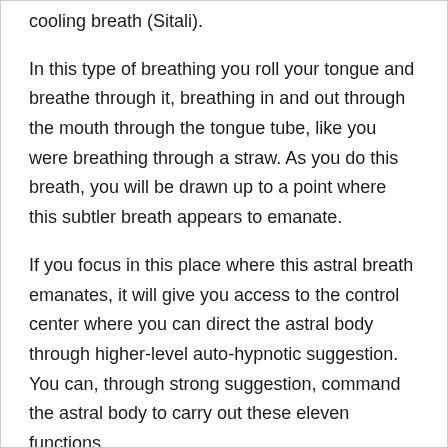cooling breath (Sitali).
In this type of breathing you roll your tongue and breathe through it, breathing in and out through the mouth through the tongue tube, like you were breathing through a straw. As you do this breath, you will be drawn up to a point where this subtler breath appears to emanate.
If you focus in this place where this astral breath emanates, it will give you access to the control center where you can direct the astral body through higher-level auto-hypnotic suggestion. You can, through strong suggestion, command the astral body to carry out these eleven functions.